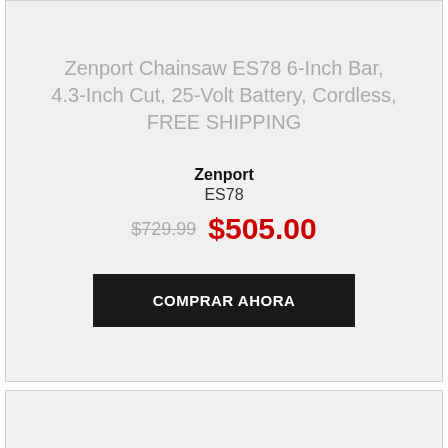Zenport Chainsaw ES78 6-Inch Bar, 4.3-Inch Cut, 25-Volt Battery, Cordless, FREE SHIPPING
Zenport
ES78
$729.99  $505.00
COMPRAR AHORA